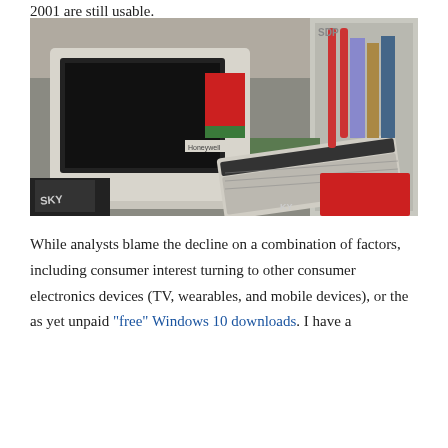2001 are still usable.
[Figure (photo): Old Honeywell computer terminal with a CRT monitor and a vintage keyboard, sitting on a cluttered desk surrounded by various items including books, tools, and storage boxes.]
While analysts blame the decline on a combination of factors, including consumer interest turning to other consumer electronics devices (TV, wearables, and mobile devices), or the as yet unpaid “free” Windows 10 downloads. I have a